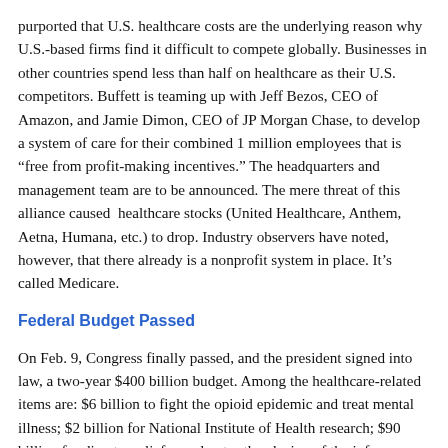purported that U.S. healthcare costs are the underlying reason why U.S.-based firms find it difficult to compete globally. Businesses in other countries spend less than half on healthcare as their U.S. competitors. Buffett is teaming up with Jeff Bezos, CEO of Amazon, and Jamie Dimon, CEO of JP Morgan Chase, to develop a system of care for their combined 1 million employees that is “free from profit-making incentives.” The headquarters and management team are to be announced. The mere threat of this alliance caused  healthcare stocks (United Healthcare, Anthem, Aetna, Humana, etc.) to drop. Industry observers have noted, however, that there already is a nonprofit system in place. It’s called Medicare.
Federal Budget Passed
On Feb. 9, Congress finally passed, and the president signed into law, a two-year $400 billion budget. Among the healthcare-related items are: $6 billion to fight the opioid epidemic and treat mental illness; $2 billion for National Institute of Health research; $90 billion for disaster relief; accelerates the closing of the infamous “doughnut dole” in Medicare Part D (drug) coverage; delays funding cuts to disproportionate share (more Medicaid and indigent care than average) hospitals; continues funding of the National Health Service